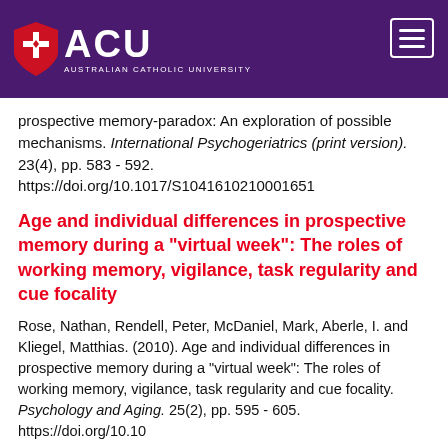[Figure (logo): Australian Catholic University (ACU) logo with shield and text on purple header background]
prospective memory-paradox: An exploration of possible mechanisms. International Psychogeriatrics (print version). 23(4), pp. 583 - 592. https://doi.org/10.1017/S1041610210001651
Age and individual differences in prospective memory during a "virtual week": The roles of working memory, vigilance, task regularity and cue focality
Rose, Nathan, Rendell, Peter, McDaniel, Mark, Aberle, I. and Kliegel, Matthias. (2010). Age and individual differences in prospective memory during a "virtual week": The roles of working memory, vigilance, task regularity and cue focality. Psychology and Aging. 25(2), pp. 595 - 605. https://doi.org/10.10